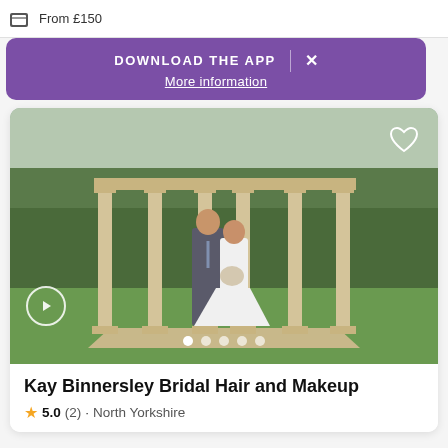From £150
DOWNLOAD THE APP
More information
[Figure (photo): Wedding couple standing under a stone colonnade gazebo in a garden setting. The groom wears a grey suit and the bride wears a white wedding gown holding a bouquet.]
Kay Binnersley Bridal Hair and Makeup
5.0 (2) · North Yorkshire